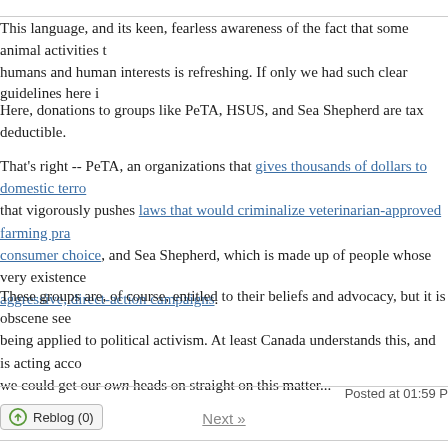This language, and its keen, fearless awareness of the fact that some animal activities t... humans and human interests is refreshing. If only we had such clear guidelines here i...
Here, donations to groups like PeTA, HSUS, and Sea Shepherd are tax deductible.
That's right -- PeTA, an organizations that gives thousands of dollars to domestic terro... that vigorously pushes laws that would criminalize veterinarian-approved farming pra... consumer choice, and Sea Shepherd, which is made up of people whose very existence... aggressive, direct-action campaigns.
These groups are, of course, entitled to their beliefs and advocacy, but it is obscene see... being applied to political activism. At least Canada understands this, and is acting acco... we could get our own heads on straight on this matter...
Posted at 01:59 P
Reblog (0)
Next »